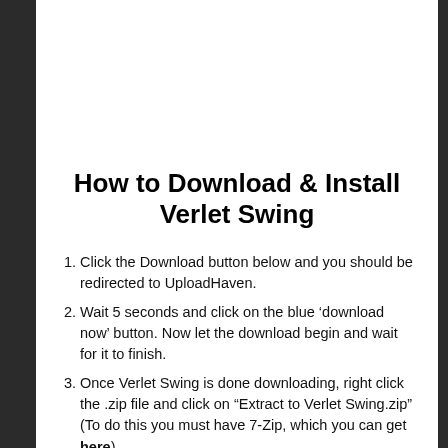How to Download & Install Verlet Swing
Click the Download button below and you should be redirected to UploadHaven.
Wait 5 seconds and click on the blue ‘download now’ button. Now let the download begin and wait for it to finish.
Once Verlet Swing is done downloading, right click the .zip file and click on “Extract to Verlet Swing.zip” (To do this you must have 7-Zip, which you can get here).
Double click inside the Verlet Swing folder and run the exe application.